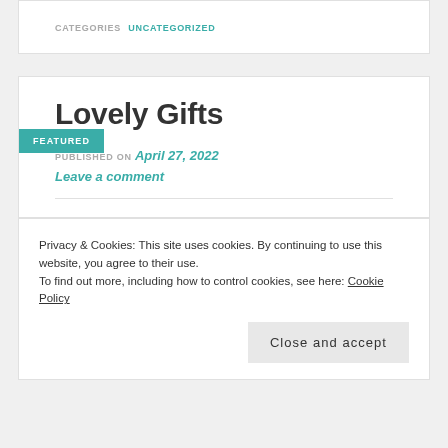CATEGORIES  UNCATEGORIZED
Lovely Gifts
FEATURED
PUBLISHED ON April 27, 2022
Leave a comment
Privacy & Cookies: This site uses cookies. By continuing to use this website, you agree to their use.
To find out more, including how to control cookies, see here: Cookie Policy
Close and accept